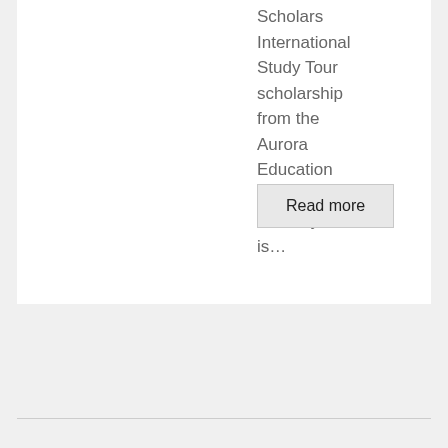Scholars International Study Tour scholarship from the Aurora Education Foundation. Not only is…
Read more